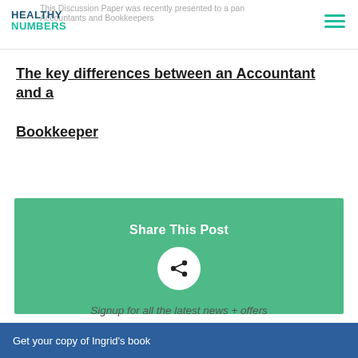This Discussion Paper was recently presented to a panel of Accountants and Bookkeepers
The key differences between an Accountant and a Bookkeeper
[Figure (other): Green share this post box with a white circular share icon button]
Signup for all the latest news + offers
Get your copy of Ingrid's book